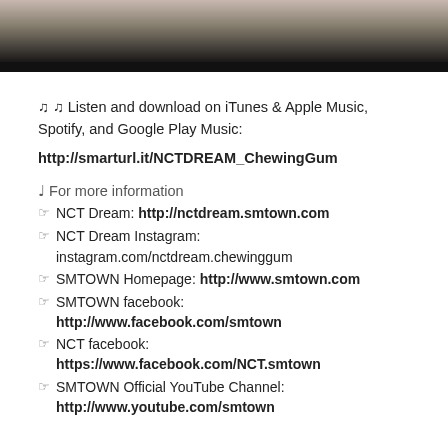[Figure (photo): Top portion of a photo/video thumbnail with dark background showing people, partially visible]
♫♫ Listen and download on iTunes & Apple Music, Spotify, and Google Play Music:
http://smarturl.it/NCTDREAM_ChewingGum
♩ For more information
☞ NCT Dream: http://nctdream.smtown.com
☞ NCT Dream Instagram: instagram.com/nctdream.chewinggum
☞ SMTOWN Homepage: http://www.smtown.com
☞ SMTOWN facebook: http://www.facebook.com/smtown
☞ NCT facebook: https://www.facebook.com/NCT.smtown
☞ SMTOWN Official YouTube Channel: http://www.youtube.com/smtown